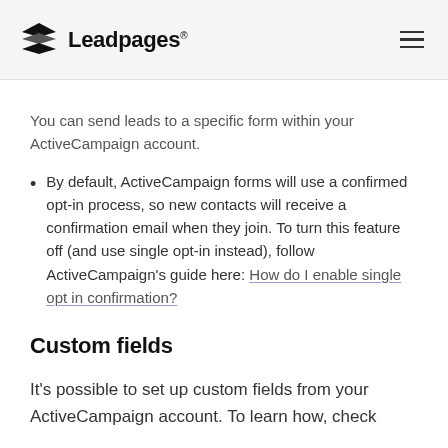Leadpages
You can send leads to a specific form within your ActiveCampaign account.
By default, ActiveCampaign forms will use a confirmed opt-in process, so new contacts will receive a confirmation email when they join. To turn this feature off (and use single opt-in instead), follow ActiveCampaign's guide here: How do I enable single opt in confirmation?
Custom fields
It's possible to set up custom fields from your ActiveCampaign account. To learn how, check